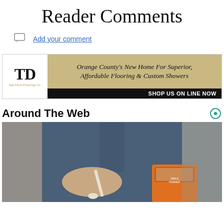Reader Comments
Add your comment
[Figure (other): Top Deck Flooring Co. advertisement banner: Orange County's New Home For Superior, Affordable Flooring & Custom Showers. SHOP US ON LINE NOW]
Around The Web
[Figure (photo): Person in denim shirt holding a spoon and an Arm & Hammer baking soda box over a bowl]